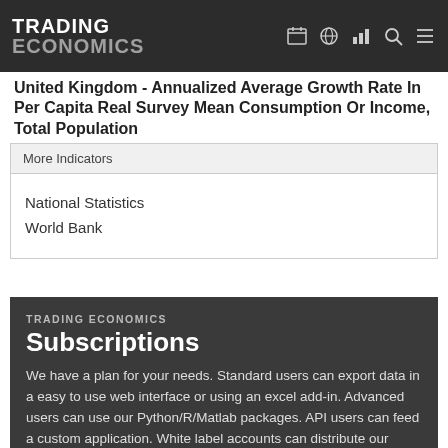TRADING ECONOMICS
United Kingdom - Annualized Average Growth Rate In Per Capita Real Survey Mean Consumption Or Income, Total Population
More Indicators
National Statistics
World Bank
TRADING ECONOMICS
Subscriptions
We have a plan for your needs. Standard users can export data in a easy to use web interface or using an excel add-in. Advanced users can use our Python/R/Matlab packages. API users can feed a custom application. White label accounts can distribute our data.